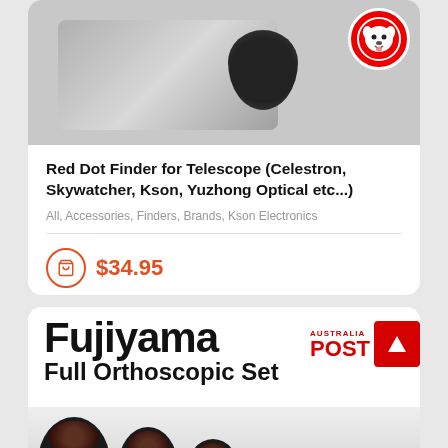[Figure (photo): Red dot finder scope for telescope, partially visible at top of first product card]
Red Dot Finder for Telescope (Celestron, Skywatcher, Kson, Yuzhong Optical etc...)
All, Accessories, Finders, Brands, Kson Electronics
$34.95
[Figure (photo): Fujiyama Full Orthoscopic Set product card showing logo, Australia Post logo, and four eyepiece lenses of decreasing size]